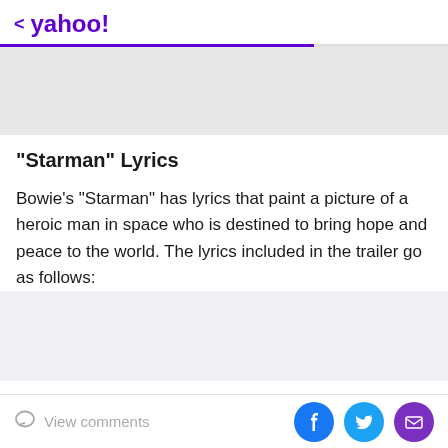< yahoo!
[Figure (other): Gray advertisement placeholder box]
"Starman" Lyrics
Bowie's "Starman" has lyrics that paint a picture of a heroic man in space who is destined to bring hope and peace to the world. The lyrics included in the trailer go as follows:
[Figure (other): Gray content placeholder block]
View comments